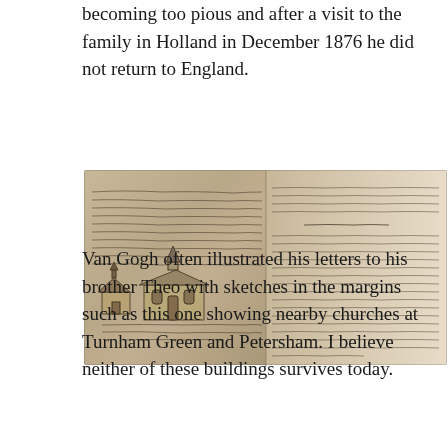becoming too pious and after a visit to the family in Holland in December 1876 he did not return to England.
[Figure (photo): A photograph of a handwritten letter page by Van Gogh, showing pencil sketches of two churches (Turnham Green and Petersham) alongside dense handwritten cursive text in Dutch, on aged yellowed paper.]
Van Gogh often illustrated his letters to his brother Theo with sketches in the margins such as this one showing nearby churches at Turnham Green and Petersham. I believe neither of these buildings survives today.